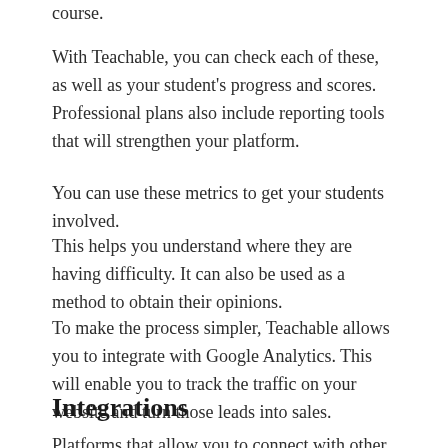course.
With Teachable, you can check each of these, as well as your student's progress and scores. Professional plans also include reporting tools that will strengthen your platform.
You can use these metrics to get your students involved.
This helps you understand where they are having difficulty. It can also be used as a method to obtain their opinions.
To make the process simpler, Teachable allows you to integrate with Google Analytics. This will enable you to track the traffic on your website and turn those leads into sales.
Integrations
Platforms that allow you to connect with other software could increase your profits. Teachable it is possible to integrate with